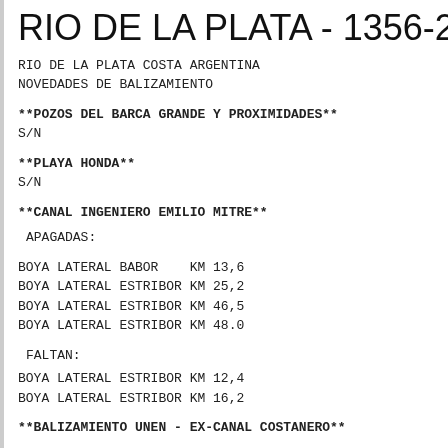RIO DE LA PLATA - 1356-2022
RIO DE LA PLATA COSTA ARGENTINA
NOVEDADES DE BALIZAMIENTO
**POZOS DEL BARCA GRANDE Y PROXIMIDADES**
S/N
**PLAYA HONDA**
S/N
**CANAL INGENIERO EMILIO MITRE**
APAGADAS:
BOYA LATERAL BABOR    KM 13,6
BOYA LATERAL ESTRIBOR KM 25,2
BOYA LATERAL ESTRIBOR KM 46,5
BOYA LATERAL ESTRIBOR KM 48.0
FALTAN:
BOYA LATERAL ESTRIBOR KM 12,4
BOYA LATERAL ESTRIBOR KM 16,2
**BALIZAMIENTO UNEN - EX-CANAL COSTANERO**